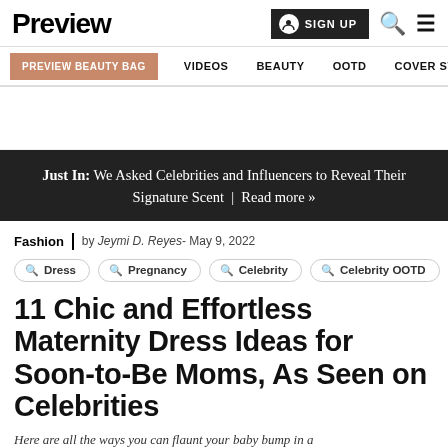Preview | SIGN UP | Search | Menu
PREVIEW BEAUTY BAG | VIDEOS | BEAUTY | OOTD | COVER STORIES
Just In: We Asked Celebrities and Influencers to Reveal Their Signature Scent | Read more »
Fashion | by Jeymi D. Reyes- May 9, 2022
Dress
Pregnancy
Celebrity
Celebrity OOTD
11 Chic and Effortless Maternity Dress Ideas for Soon-to-Be Moms, As Seen on Celebrities
Here are all the ways you can flaunt your baby bump in a